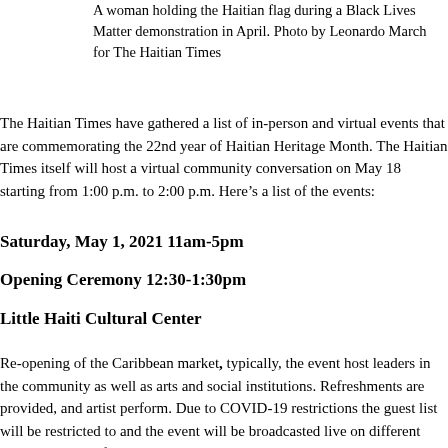A woman holding the Haitian flag during a Black Lives Matter demonstration in April. Photo by Leonardo March for The Haitian Times
The Haitian Times have gathered a list of in-person and virtual events that are commemorating the 22nd year of Haitian Heritage Month. The Haitian Times itself will host a virtual community conversation on May 18 starting from 1:00 p.m. to 2:00 p.m. Here’s a list of the events:
Saturday, May 1, 2021 11am-5pm
Opening Ceremony 12:30-1:30pm
Little Haiti Cultural Center
Re-opening of the Caribbean market, typically, the event host leaders in the community as well as arts and social institutions. Refreshments are provided, and artist perform. Due to COVID-19 restrictions the guest list will be restricted to and the event will be broadcasted live on different social media platforms to increase participation opportunities. For more information, please visit here.